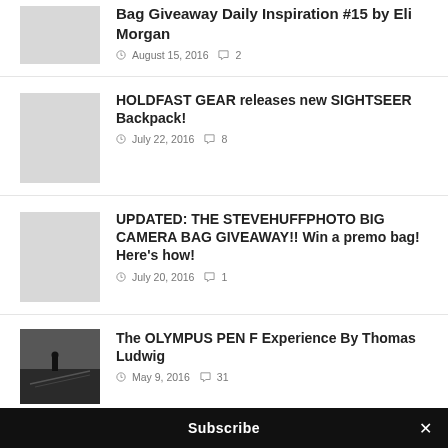Bag Giveaway Daily Inspiration #15 by Eli Morgan — August 15, 2016 · 2 comments
HOLDFAST GEAR releases new SIGHTSEER Backpack! — July 22, 2016 · 8 comments
UPDATED: THE STEVEHUFFPHOTO BIG CAMERA BAG GIVEAWAY!! Win a premo bag! Here's how! — July 20, 2016 · 1 comment
The OLYMPUS PEN F Experience By Thomas Ludwig — May 9, 2016 · 31 comments
Subscribe ×